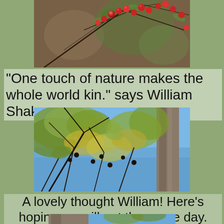[Figure (photo): Close-up photo of red berries on branches with green leaves, blurred brown background]
"One touch of nature makes the whole world kin." says William Shakespeare.
[Figure (photo): Looking up through tree canopy with yellow-green autumn leaves and branches against blue sky, with a tree trunk on the right]
A lovely thought William!  Here's hoping we will get there one day.
[Figure (photo): Partial view of tree bark and canopy against blue sky at bottom of page]